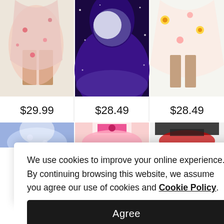[Figure (photo): E-commerce product grid showing 3 dresses in top row and 3 dresses partially visible in second row, with prices $29.99, $28.49, $28.49]
$29.99
$28.49
$28.49
We use cookies to improve your online experience. By continuing browsing this website, we assume you agree our use of cookies and Cookie Policy.
Agree